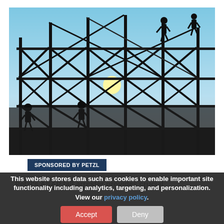[Figure (photo): Silhouette of construction workers on steel scaffolding against a bright sky with sunlight breaking through the structure. Workers visible at top of frame and on the scaffold. Dark steel beams crisscross in foreground.]
SPONSORED BY PETZL
Petzl's ASAP fall arrester provides crucial...
This website stores data such as cookies to enable important site functionality including analytics, targeting, and personalization. View our privacy policy.